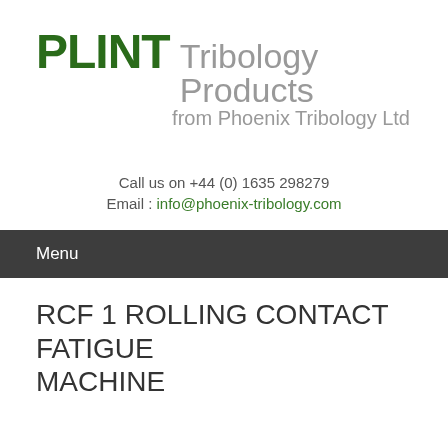[Figure (logo): PLINT Tribology Products from Phoenix Tribology Ltd logo]
Call us on +44 (0) 1635 298279
Email : info@phoenix-tribology.com
Menu
RCF 1 ROLLING CONTACT FATIGUE MACHINE